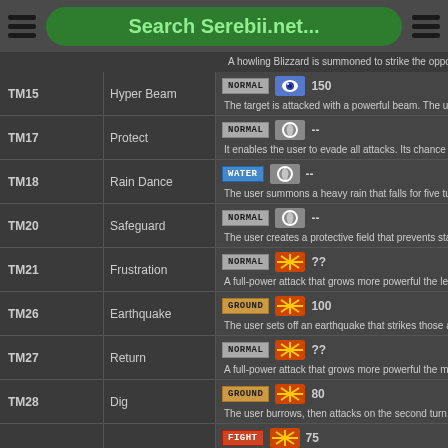Search Serebii.net...
| TM | Move | Type | Category | Power | Description |
| --- | --- | --- | --- | --- | --- |
| TM15 | Hyper Beam | NORMAL | Special | 150 | The target is attacked with a powerful beam. The user must rest o... |
| TM17 | Protect | NORMAL | Status | -- | It enables the user to evade all attacks. Its chance of failing rises i... |
| TM18 | Rain Dance | WATER | Status | -- | The user summons a heavy rain that falls for five turns, powering... |
| TM20 | Safeguard | NORMAL | Status | -- | The user creates a protective field that prevents status problems f... |
| TM21 | Frustration | NORMAL | Physical | ?? | A full-power attack that grows more powerful the less the user lik... |
| TM26 | Earthquake | GROUND | Physical | 100 | The user sets off an earthquake that strikes those around it. |
| TM27 | Return | NORMAL | Physical | ?? | A full-power attack that grows more powerful the more the user l... |
| TM28 | Dig | GROUND | Physical | 80 | The user burrows, then attacks on the second turn. It can also be u... |
| TM?? | ??? | FIGHT | Physical | 75 |  |